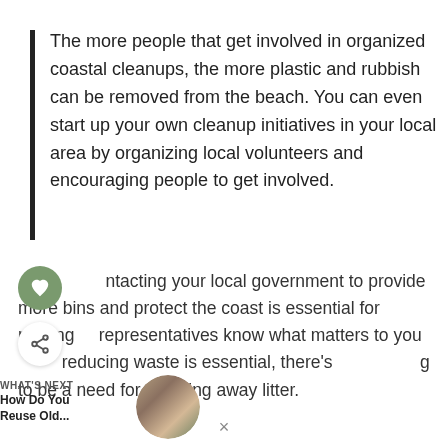The more people that get involved in organized coastal cleanups, the more plastic and rubbish can be removed from the beach. You can even start up your own cleanup initiatives in your local area by organizing local volunteers and encouraging people to get involved.
Contacting your local government to provide more bins and protect the coast is essential for making your representatives know what matters to you and while reducing waste is essential, there's always going to be a need for throwing away litter.